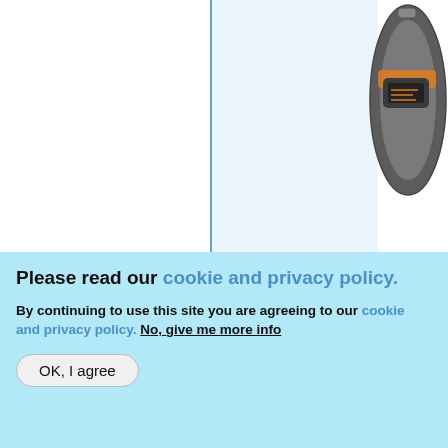[Figure (photo): Product image: an orange and grey armband/wristband device shown in upper right corner]
[Figure (photo): Product image: a silver/grey circular ring or wearable device shown in lower right corner]
PAGAO B
Please read our cookie and privacy policy. By continuing to use this site you are agreeing to our cookie and privacy policy. No, give me more info
OK, I agree